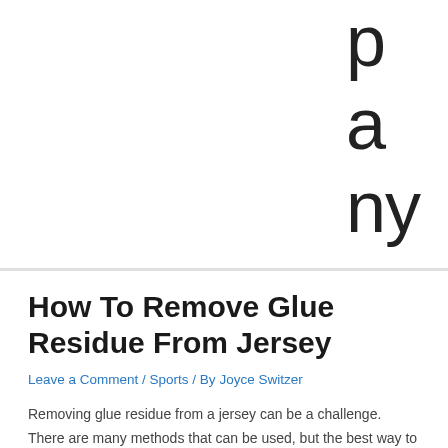pany
How To Remove Glue Residue From Jersey
Leave a Comment / Sports / By Joyce Switzer
Removing glue residue from a jersey can be a challenge. There are many methods that can be used, but the best way to remove the glue is to use a solvent.
How To Remove Glue Residue From Jersey